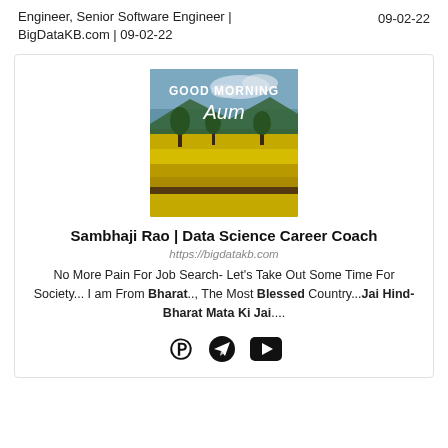Engineer, Senior Software Engineer | BigDataKB.com | 09-02-22
09-02-22
[Figure (photo): Good Morning Aum image with green fields and trees landscape, text overlay 'GOOD MORNING Aum']
Sambhaji Rao | Data Science Career Coach
https://bigdatakb.com
No More Pain For Job Search- Let's Take Out Some Time For Society... I am From Bharat.., The Most Blessed Country...Jai Hind- Bharat Mata Ki Jai....
[Figure (other): Three social media icons: PayPal/P icon, Telegram icon, YouTube icon]